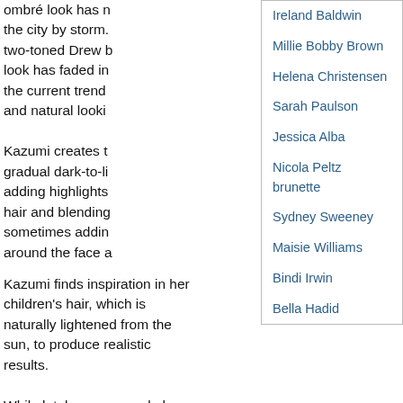ombré look has n the city by storm. two-toned Drew b look has faded in the current trend and natural looki Kazumi creates t gradual dark-to-li adding highlights hair and blending sometimes addin around the face a
Ireland Baldwin
Millie Bobby Brown
Helena Christensen
Sarah Paulson
Jessica Alba
Nicola Peltz brunette
Sydney Sweeney
Maisie Williams
Bindi Irwin
Bella Hadid
Kazumi finds inspiration in her children's hair, which is naturally lightened from the sun, to produce realistic results.
While lately many people have